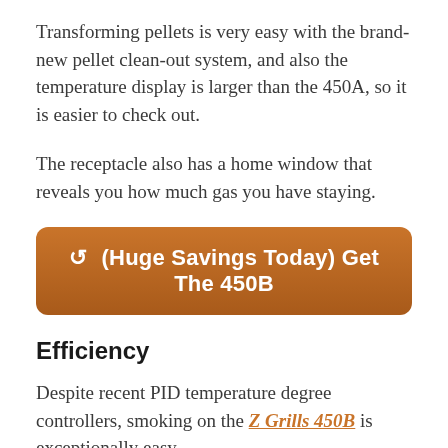Transforming pellets is very easy with the brand-new pellet clean-out system, and also the temperature display is larger than the 450A, so it is easier to check out.
The receptacle also has a home window that reveals you how much gas you have staying.
[Figure (other): Orange rounded call-to-action button with text: (Huge Savings Today) Get The 450B]
Efficiency
Despite recent PID temperature degree controllers, smoking on the Z Grills 450B is exceptionally easy.
The really first time you utilize a pellet smoker,